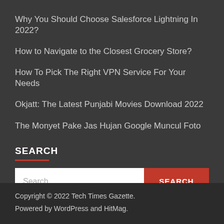Why You Should Choose Salesforce Lightning In 2022?
How to Navigate to the Closest Grocery Store?
How To Pick The Right VPN Service For Your Needs
Okjatt: The Latest Punjabi Movies Download 2022
The Monyet Pake Jas Hujan Google Muncul Foto
SEARCH
Copyright © 2022 Tech Times Gazette.
Powered by WordPress and HitMag.